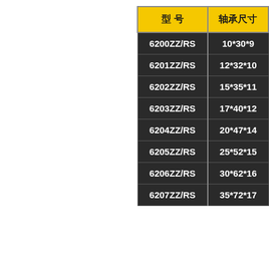| 型 号 | 轴承尺寸 |
| --- | --- |
| 6200ZZ/RS | 10*30*9 |
| 6201ZZ/RS | 12*32*10 |
| 6202ZZ/RS | 15*35*11 |
| 6203ZZ/RS | 17*40*12 |
| 6204ZZ/RS | 20*47*14 |
| 6205ZZ/RS | 25*52*15 |
| 6206ZZ/RS | 30*62*16 |
| 6207ZZ/RS | 35*72*17 |